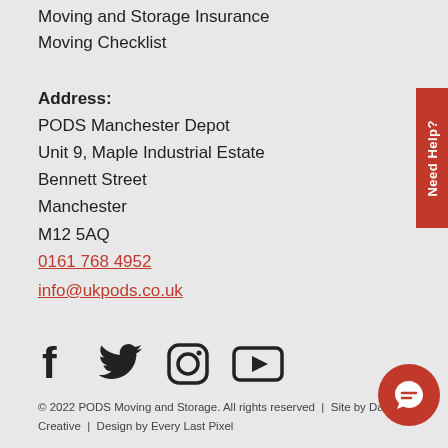Moving and Storage Insurance
Moving Checklist
Address:
PODS Manchester Depot
Unit 9, Maple Industrial Estate
Bennett Street
Manchester
M12 5AQ
0161 768 4952
info@ukpods.co.uk
[Figure (illustration): Social media icons: Facebook, Twitter, Instagram, YouTube]
© 2022 PODS Moving and Storage. All rights reserved  |  Site by Damselfly Creative  |  Design by Every Last Pixel